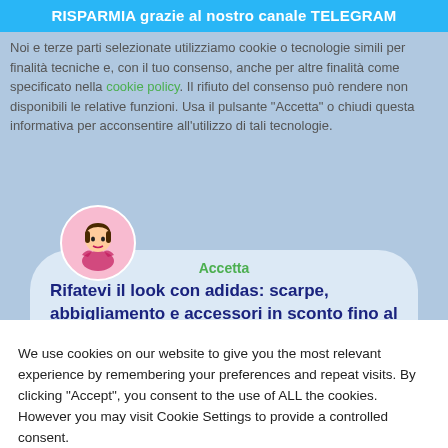RISPARMIA grazie al nostro canale TELEGRAM
Noi e terze parti selezionate utilizziamo cookie o tecnologie simili per finalità tecniche e, con il tuo consenso, anche per altre finalità come specificato nella cookie policy. Il rifiuto del consenso può rendere non disponibili le relative funzioni. Usa il pulsante "Accetta" o chiudi questa informativa per acconsentire all'utilizzo di tali tecnologie.
[Figure (illustration): Avatar of a cartoon figure of a person with dark hair, sitting cross-legged, shown in a pink circle]
Accetta
Rifatevi il look con adidas: scarpe, abbigliamento e accessori in sconto fino al -50%
We use cookies on our website to give you the most relevant experience by remembering your preferences and repeat visits. By clicking "Accept", you consent to the use of ALL the cookies. However you may visit Cookie Settings to provide a controlled consent.
Cookie settings
ACCEPT